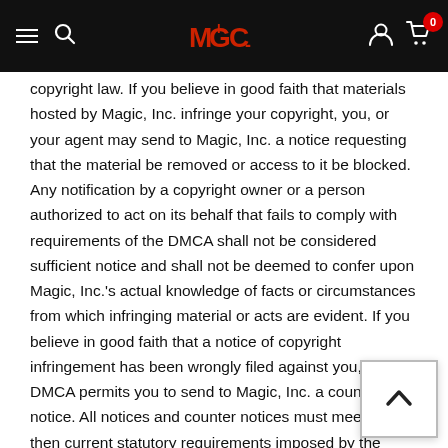Magic Inc. website header with navigation
copyright law. If you believe in good faith that materials hosted by Magic, Inc. infringe your copyright, you, or your agent may send to Magic, Inc. a notice requesting that the material be removed or access to it be blocked. Any notification by a copyright owner or a person authorized to act on its behalf that fails to comply with requirements of the DMCA shall not be considered sufficient notice and shall not be deemed to confer upon Magic, Inc.'s actual knowledge of facts or circumstances from which infringing material or acts are evident. If you believe in good faith that a notice of copyright infringement has been wrongly filed against you, the DMCA permits you to send to Magic, Inc. a counter-notice. All notices and counter notices must meet the then current statutory requirements imposed by the DMCA; see http://www.loc.gov/copyright for details. Magic, Inc.'s Copyright Agent for notice of claims of copyright infringement or counter notices can be reached as follows: ejostock@jostock.us